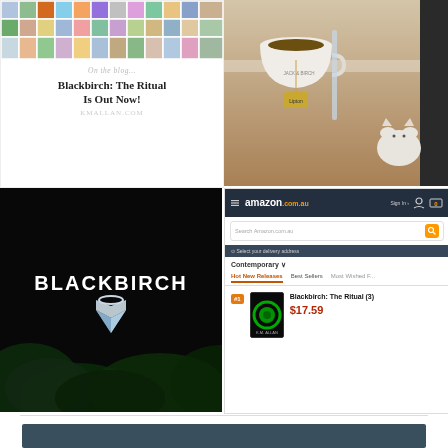[Figure (photo): Mosaic/collage of photos of cats, flowers, and nature scenes arranged in a grid with white borders, blog card style with text below]
On the blog...
Blackbirch: The Ritual Is Out Now!
KMALLAN.COM
[Figure (photo): Instagram-style photo of a tea cup with tea bag on a wooden table, with a white fluffy cat visible in the background]
[Figure (photo): Dark promotional image for BLACKBIRCH book with diamond ring on dark background with green foliage]
[Figure (screenshot): Amazon.com.au website screenshot showing Blackbirch: The Ritual (3) listed as #1 Hot New Release at $17.59]